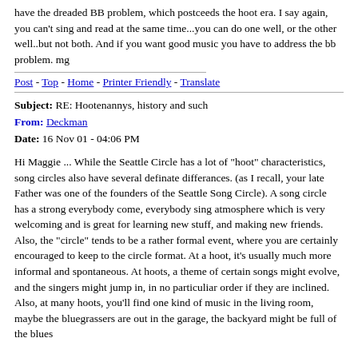have the dreaded BB problem, which postceeds the hoot era. I say again, you can't sing and read at the same time...you can do one well, or the other well..but not both. And if you want good music you have to address the bb problem. mg
Post - Top - Home - Printer Friendly - Translate
Subject: RE: Hootenannys, history and such
From: Deckman
Date: 16 Nov 01 - 04:06 PM
Hi Maggie ... While the Seattle Circle has a lot of "hoot" characteristics, song circles also have several definate differances. (as I recall, your late Father was one of the founders of the Seattle Song Circle). A song circle has a strong everybody come, everybody sing atmosphere which is very welcoming and is great for learning new stuff, and making new friends. Also, the "circle" tends to be a rather formal event, where you are certainly encouraged to keep to the circle format. At a hoot, it's usually much more informal and spontaneous. At hoots, a theme of certain songs might evolve, and the singers might jump in, in no particuliar order if they are inclined. Also, at many hoots, you'll find one kind of music in the living room, maybe the bluegrassers are out in the garage, the backyard might be full of the blues players, etc...it's all about having a great time, meeting.